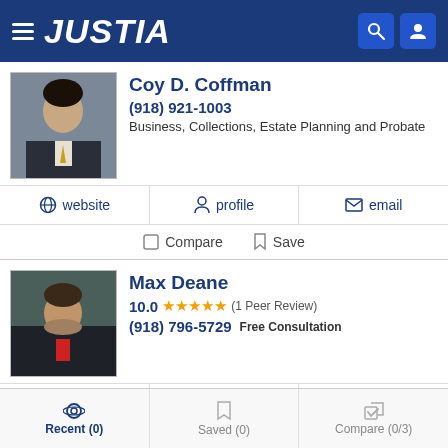JUSTIA
[Figure (photo): Headshot of attorney Coy D. Coffman in a dark suit with yellow tie]
Coy D. Coffman
(918) 921-1003
Business, Collections, Estate Planning and Probate
website  profile  email
Compare  Save
[Figure (photo): Headshot of attorney Max Deane in a dark suit with red tie]
Max Deane
10.0 ★★★★★ (1 Peer Review)
(918) 796-5729 Free Consultation
website  profile  email
Recent (0)  Saved (0)  Compare (0/3)